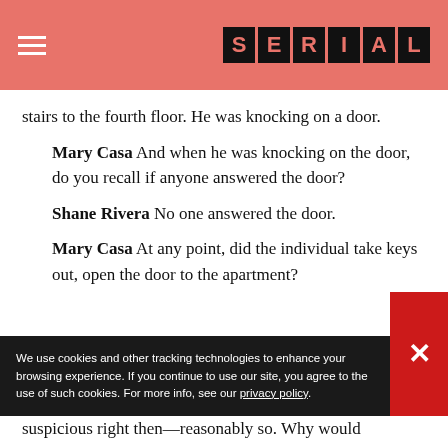SERIAL
stairs to the fourth floor. He was knocking on a door.
Mary Casa And when he was knocking on the door, do you recall if anyone answered the door?
Shane Rivera No one answered the door.
Mary Casa At any point, did the individual take keys out, open the door to the apartment?
We use cookies and other tracking technologies to enhance your browsing experience. If you continue to use our site, you agree to the use of such cookies. For more info, see our privacy policy.
suspicious right then—reasonably so. Why would